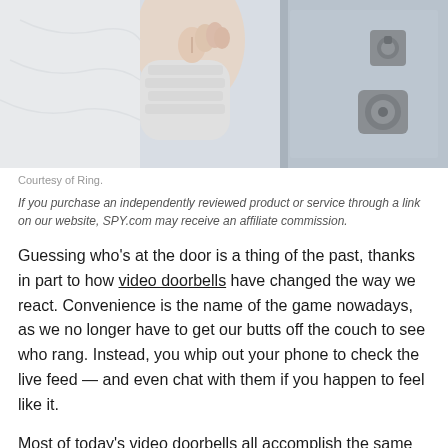[Figure (photo): Photo of a person's hand in a white knit sweater sleeve knocking on a door, with door hardware including a deadbolt and lever handle visible on the right side]
Courtesy of Ring.
If you purchase an independently reviewed product or service through a link on our website, SPY.com may receive an affiliate commission.
Guessing who’s at the door is a thing of the past, thanks in part to how video doorbells have changed the way we react. Convenience is the name of the game nowadays, as we no longer have to get our butts off the couch to see who rang. Instead, you whip out your phone to check the live feed — and even chat with them if you happen to feel like it.
Most of today’s video doorbells all accomplish the same tasks of detecting motion within their field of view, recording video that can be played back at a